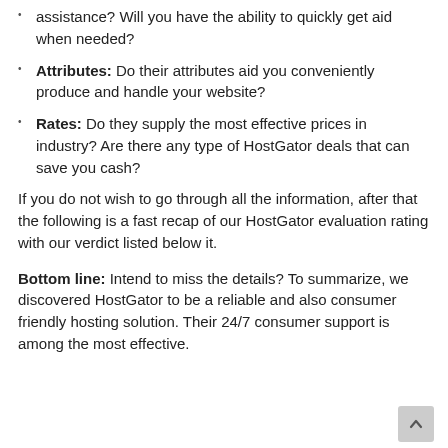assistance? Will you have the ability to quickly get aid when needed?
Attributes: Do their attributes aid you conveniently produce and handle your website?
Rates: Do they supply the most effective prices in industry? Are there any type of HostGator deals that can save you cash?
If you do not wish to go through all the information, after that the following is a fast recap of our HostGator evaluation rating with our verdict listed below it.
Bottom line: Intend to miss the details? To summarize, we discovered HostGator to be a reliable and also consumer friendly hosting solution. Their 24/7 consumer support is among the most effective.